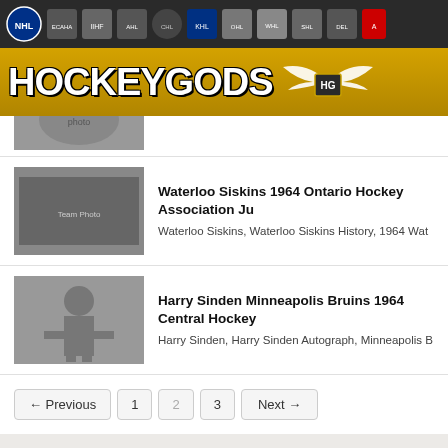HockeyGods navigation bar with league logos
HOCKEYGODS
[Figure (photo): Partial hockey team or player photo, cropped at top]
Waterloo Siskins 1964 Ontario Hockey Association Ju... — Waterloo Siskins, Waterloo Siskins History, 1964 Wat...
Harry Sinden Minneapolis Bruins 1964 Central Hockey... — Harry Sinden, Harry Sinden Autograph, Minneapolis B...
← Previous   1   2   3   Next →
Copyright © 2022 HockeyGods.com